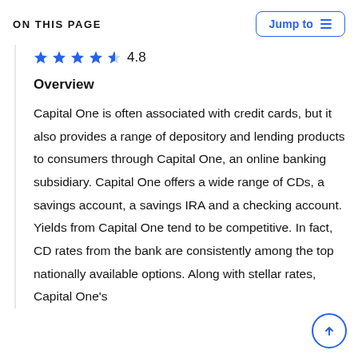ON THIS PAGE
Jump to
[Figure (other): Star rating showing 4 blue stars and 1 partial star with rating 4.8]
Overview
Capital One is often associated with credit cards, but it also provides a range of depository and lending products to consumers through Capital One, an online banking subsidiary. Capital One offers a wide range of CDs, a savings account, a savings IRA and a checking account. Yields from Capital One tend to be competitive. In fact, CD rates from the bank are consistently among the top nationally available options. Along with stellar rates, Capital One's